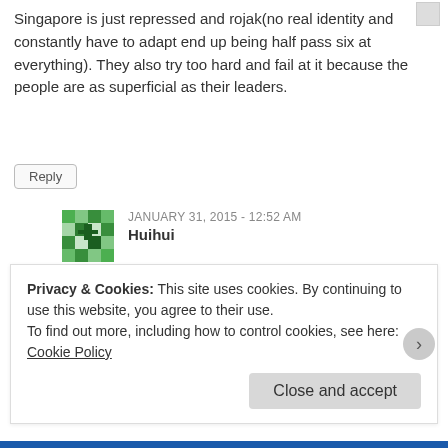Singapore is just repressed and rojak(no real identity and constantly have to adapt end up being half pass six at everything). They also try too hard and fail at it because the people are as superficial as their leaders.
Reply
JANUARY 31, 2015 - 12:52 AM
Huihui
when their leader talk…everybody understands…when Sin leaders talk…I no understand their england….aunties uncles…boy girl say..hah?…what version England?….so spit here spit there everywhere spit spit…where got respect
Reply
Privacy & Cookies: This site uses cookies. By continuing to use this website, you agree to their use.
To find out more, including how to control cookies, see here: Cookie Policy
Close and accept